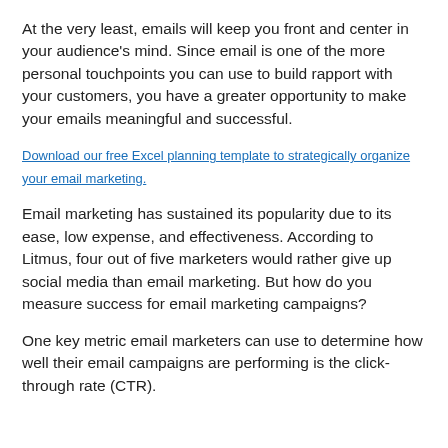At the very least, emails will keep you front and center in your audience's mind. Since email is one of the more personal touchpoints you can use to build rapport with your customers, you have a greater opportunity to make your emails meaningful and successful.
Download our free Excel planning template to strategically organize your email marketing.
Email marketing has sustained its popularity due to its ease, low expense, and effectiveness. According to Litmus, four out of five marketers would rather give up social media than email marketing. But how do you measure success for email marketing campaigns?
One key metric email marketers can use to determine how well their email campaigns are performing is the click-through rate (CTR).